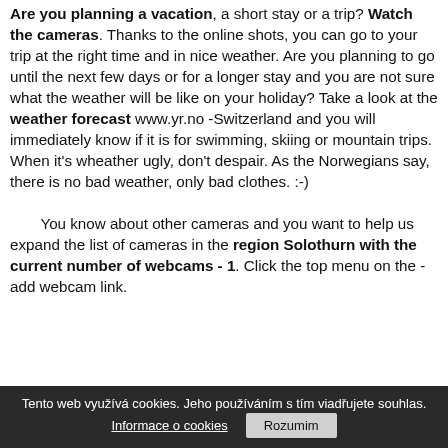Are you planning a vacation, a short stay or a trip? Watch the cameras. Thanks to the online shots, you can go to your trip at the right time and in nice weather. Are you planning to go until the next few days or for a longer stay and you are not sure what the weather will be like on your holiday? Take a look at the weather forecast www.yr.no -Switzerland and you will immediately know if it is for swimming, skiing or mountain trips. When it's wheather ugly, don't despair. As the Norwegians say, there is no bad weather, only bad clothes. :-)
You know about other cameras and you want to help us expand the list of cameras in the region Solothurn with the current number of webcams - 1. Click the top menu on the - add webcam link.
Tento web využívá cookies. Jeho používáním s tím viadřujete souhlas. Informace o cookies Rozumim